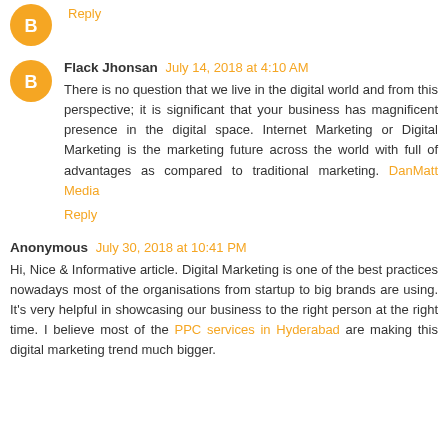Reply
Flack Jhonsan July 14, 2018 at 4:10 AM
There is no question that we live in the digital world and from this perspective; it is significant that your business has magnificent presence in the digital space. Internet Marketing or Digital Marketing is the marketing future across the world with full of advantages as compared to traditional marketing. DanMatt Media
Reply
Anonymous July 30, 2018 at 10:41 PM
Hi, Nice & Informative article. Digital Marketing is one of the best practices nowadays most of the organisations from startup to big brands are using. It's very helpful in showcasing our business to the right person at the right time. I believe most of the PPC services in Hyderabad are making this digital marketing trend much bigger.